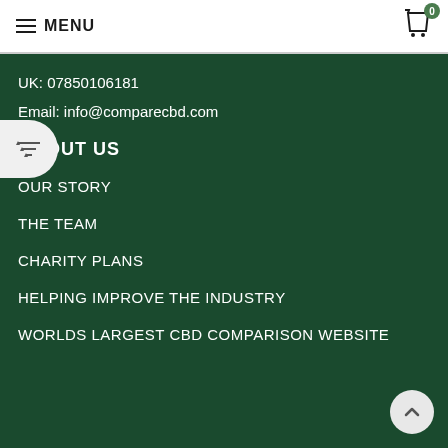MENU
UK: 07850106181
Email: info@comparecbd.com
ABOUT US
OUR STORY
THE TEAM
CHARITY PLANS
HELPING IMPROVE THE INDUSTRY
WORLDS LARGEST CBD COMPARISON WEBSITE